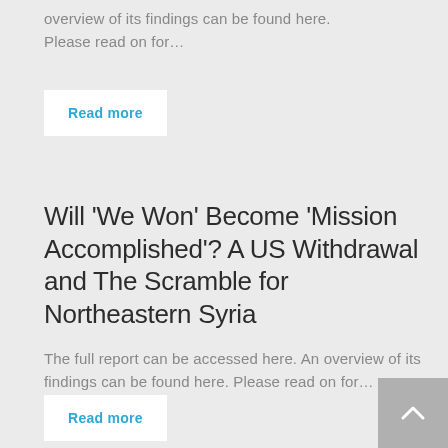overview of its findings can be found here. Please read on for…
Read more
Will 'We Won' Become 'Mission Accomplished'? A US Withdrawal and The Scramble for Northeastern Syria
The full report can be accessed here. An overview of its findings can be found here. Please read on for…
Read more